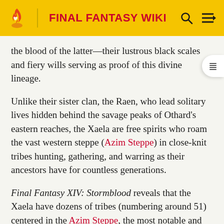FINAL FANTASY WIKI
the blood of the latter—their lustrous black scales and fiery wills serving as proof of this divine lineage.
Unlike their sister clan, the Raen, who lead solitary lives hidden behind the savage peaks of Othard's eastern reaches, the Xaela are free spirits who roam the vast western steppe (Azim Steppe) in close-knit tribes hunting, gathering, and warring as their ancestors have for countless generations.
Final Fantasy XIV: Stormblood reveals that the Xaela have dozens of tribes (numbering around 51) centered in the Azim Steppe, the most notable and powerful being the Oronir. There are also several neutral clans, such as the mute mercantile Qestir and the wandering spiritual Mol.